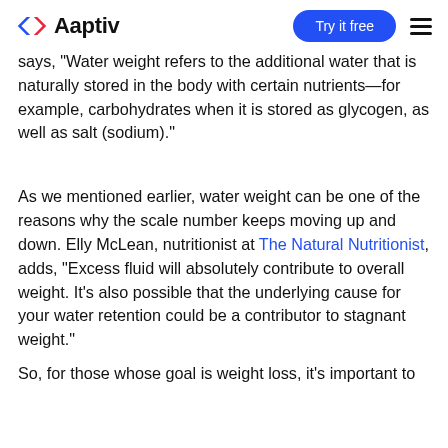Aaptiv | Try it free
says, "Water weight refers to the additional water that is naturally stored in the body with certain nutrients—for example, carbohydrates when it is stored as glycogen, as well as salt (sodium)."
As we mentioned earlier, water weight can be one of the reasons why the scale number keeps moving up and down. Elly McLean, nutritionist at The Natural Nutritionist, adds, "Excess fluid will absolutely contribute to overall weight. It's also possible that the underlying cause for your water retention could be a contributor to stagnant weight."
So, for those whose goal is weight loss, it's important to